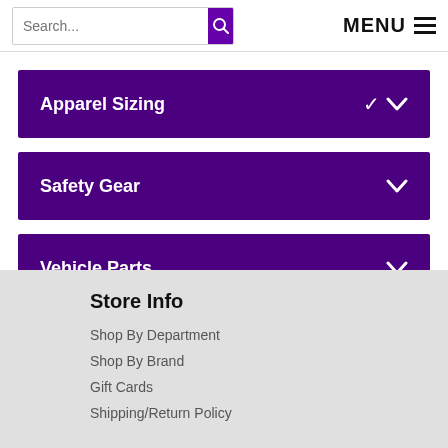Search... | MENU
Apparel Sizing
Safety Gear
Vehicle Parts
Store Info
Shop By Department
Shop By Brand
Gift Cards
Shipping/Return Policy